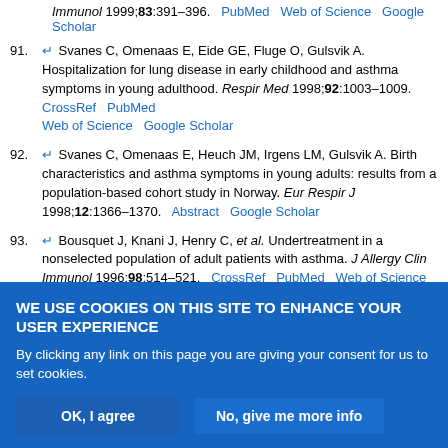Immunol 1999;83:391–396. CrossRef PubMed Web of Science Google Scholar
91. Svanes C, Omenaas E, Eide GE, Fluge O, Gulsvik A. Hospitalization for lung disease in early childhood and asthma symptoms in young adulthood. Respir Med 1998;92:1003–1009. CrossRef PubMed Web of Science Google Scholar
92. Svanes C, Omenaas E, Heuch JM, Irgens LM, Gulsvik A. Birth characteristics and asthma symptoms in young adults: results from a population-based cohort study in Norway. Eur Respir J 1998;12:1366–1370. Abstract Google Scholar
93. Bousquet J, Knani J, Henry C, et al. Undertreatment in a nonselected population of adult patients with asthma. J Allergy Clin Immunol 1996;98:514–521. CrossRef PubMed Web of Science Google Scholar
WE USE COOKIES ON THIS SITE TO ENHANCE YOUR USER EXPERIENCE. By clicking any link on this page you are giving your consent for us to set cookies. OK, I agree. No, give me more info.